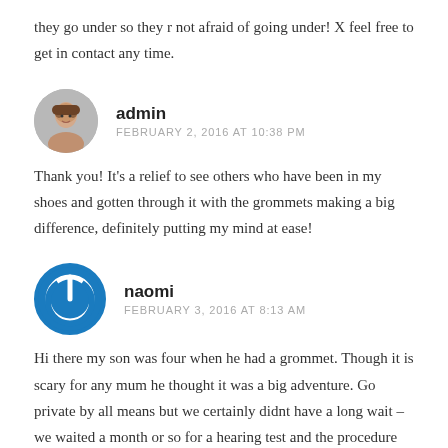they go under so they r not afraid of going under! X feel free to get in contact any time.
[Figure (photo): Circular avatar photo of admin user (woman)]
admin
FEBRUARY 2, 2016 AT 10:38 PM
Thank you! It’s a relief to see others who have been in my shoes and gotten through it with the grommets making a big difference, definitely putting my mind at ease!
[Figure (logo): Circular power icon logo in blue for user naomi]
naomi
FEBRUARY 3, 2016 AT 8:13 AM
Hi there my son was four when he had a grommet. Though it is scary for any mum he thought it was a big adventure. Go private by all means but we certainly didnt have a long wait – we waited a month or so for a hearing test and the procedure was done a month after that. The staff in hospital have a great patter for kids ops and even now he talks about the canula or Spiderman web thrower as they called it! He was up and bouncing around